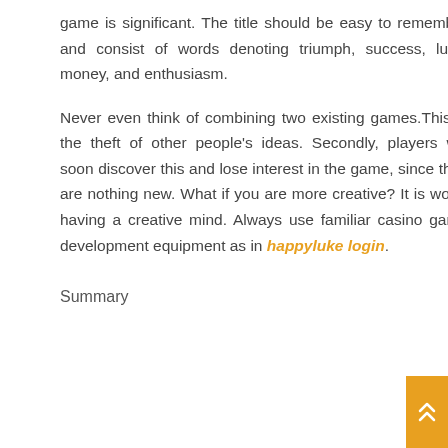game is significant. The title should be easy to remember and consist of words denoting triumph, success, luck, money, and enthusiasm.
Never even think of combining two existing games.This is the theft of other people's ideas. Secondly, players will soon discover this and lose interest in the game, since they are nothing new. What if you are more creative? It is worth having a creative mind. Always use familiar casino game development equipment as in happyluke login.
Summary